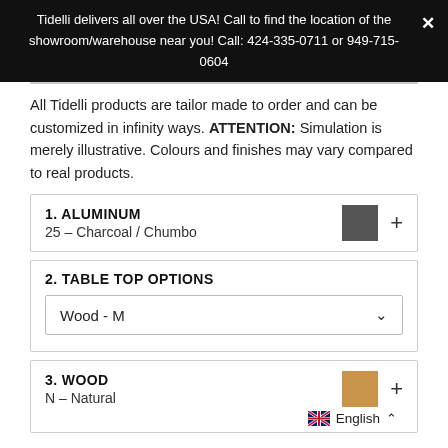Tidelli delivers all over the USA! Call to find the location of the showroom/warehouse near you! Call: 424-335-0711 or 949-715-0604
All Tidelli products are tailor made to order and can be customized in infinity ways. ATTENTION: Simulation is merely illustrative. Colours and finishes may vary compared to real products.
1. ALUMINUM
25 – Charcoal / Chumbo
2. TABLE TOP OPTIONS
Wood - M
3. WOOD
N – Natural